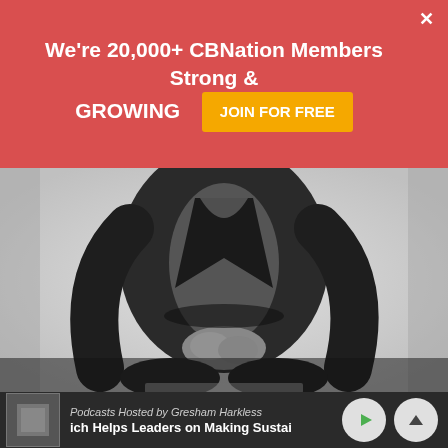We're 20,000+ CBNation Members Strong & GROWING  JOIN FOR FREE
[Figure (photo): Black and white photo of a person in a leather jacket sitting with hands clasped, torso and lower body visible, head not shown]
Podcasts Hosted by Gresham Harkless | ich Helps Leaders on Making Sustai